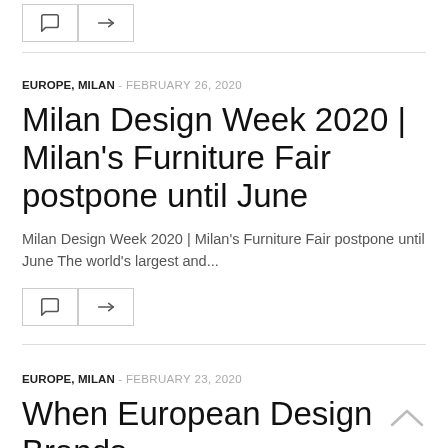[Figure (other): Comment and share icon buttons (partially visible at top)]
EUROPE, MILAN - FEBRUARY 26, 2020
Milan Design Week 2020 | Milan's Furniture Fair postpone until June
Milan Design Week 2020 | Milan's Furniture Fair postpone until June The world's largest and...
[Figure (other): Comment and share icon buttons]
EUROPE, MILAN - FEBRUARY 23, 2020
When European Design Brands